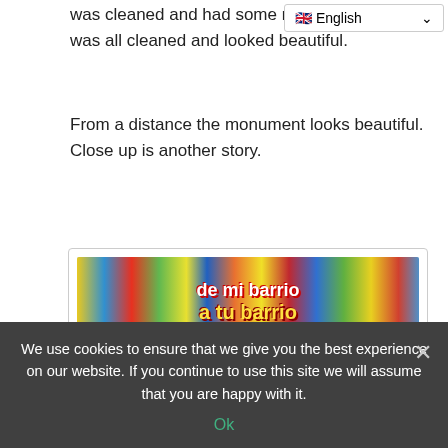was cleaned and had some nice ori... was all cleaned and looked beautiful.
From a distance the monument looks beautiful. Close up is another story.
[Figure (photo): Entrance to a monument with colorful mural artwork at the top reading 'de mi barrio a tu barrio', with architectural columns and open archways below.]
Entrance to the monument Montecino March 20, 2012
The grounds were nice and was a perfect place for dogs to
We use cookies to ensure that we give you the best experience on our website. If you continue to use this site we will assume that you are happy with it.